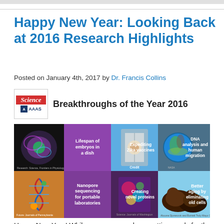Happy New Year: Looking Back at 2016 Research Highlights
Posted on January 4th, 2017 by Dr. Francis Collins
[Figure (photo): Science/AAAS logo and 'Breakthroughs of the Year 2016' banner, followed by a grid of 6 science image tiles: Lifespan of embryos in a dish, Expediting Zika vaccines, DNA analysis and human migration, Nanopore sequencing for portable laboratories, Creating novel proteins, Better aging by eliminating old cells]
Happy New Year! While everyone was busy getting ready for the holidays, the journal Science announced its annual compendium of scientific Breakthroughs of the Year. If you missed it, the winner for 2016 was the